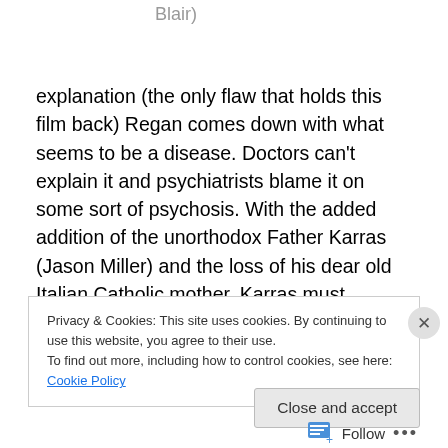Blair)
explanation (the only flaw that holds this film back) Regan comes down with what seems to be a disease. Doctors can't explain it and psychiatrists blame it on some sort of psychosis. With the added addition of the unorthodox Father Karras (Jason Miller) and the loss of his dear old Italian Catholic mother, Karras must struggle with keeping
Privacy & Cookies: This site uses cookies. By continuing to use this website, you agree to their use.
To find out more, including how to control cookies, see here: Cookie Policy
Close and accept
Follow